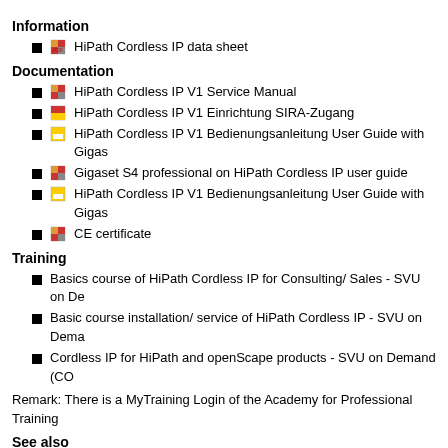Information
HiPath Cordless IP data sheet
Documentation
HiPath Cordless IP V1 Service Manual
HiPath Cordless IP V1 Einrichtung SIRA-Zugang
HiPath Cordless IP V1 Bedienungsanleitung User Guide with Gigas
Gigaset S4 professional on HiPath Cordless IP user guide
HiPath Cordless IP V1 Bedienungsanleitung User Guide with Gigas
CE certificate
Training
Basics course of HiPath Cordless IP for Consulting/ Sales - SVU on De
Basic course installation/ service of HiPath Cordless IP - SVU on Dema
Cordless IP for HiPath and openScape products - SVU on Demand (CO
Remark: There is a MyTraining Login of the Academy for Professional Training
See also
HiPath Cordless IP - IEEE 1588
HiPath OpenOffice ME
HiPath OpenOffice EE
OpenScape Office
HiPath 3000
Gigaset professional